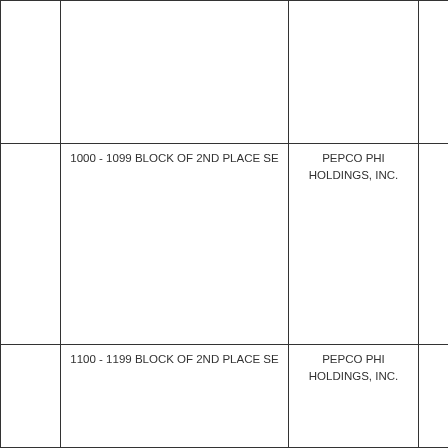|  |  |  |  |
|  | 1000 - 1099 BLOCK OF 2ND PLACE SE | PEPCO PHI HOLDINGS, INC. |  |
|  | 1100 - 1199 BLOCK OF 2ND PLACE SE | PEPCO PHI HOLDINGS, INC. |  |